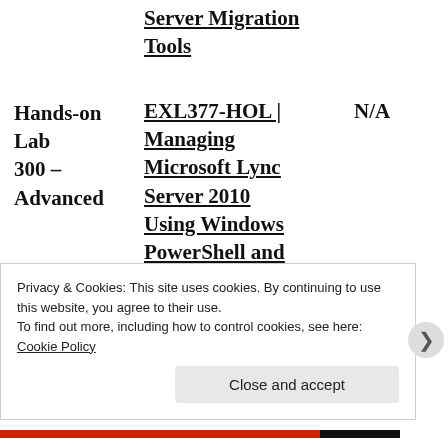Server Migration Tools
| Type | Code | Title | Level |
| --- | --- | --- |
| Hands-on Lab 300 – Advanced | EXL377-HOL | Managing Microsoft Lync Server 2010 Using Windows PowerShell and the Lync Server | N/A |
Privacy & Cookies: This site uses cookies. By continuing to use this website, you agree to their use.
To find out more, including how to control cookies, see here: Cookie Policy
Close and accept